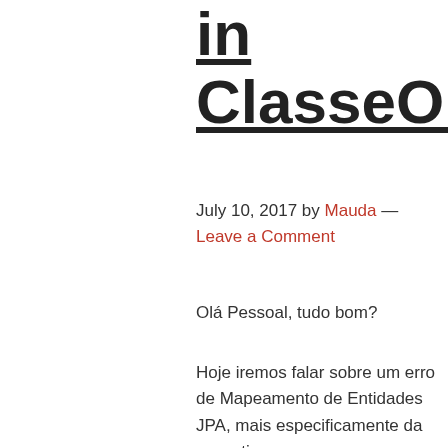in ClassseOrigem.attribute
July 10, 2017 by Mauda — Leave a Comment
Olá Pessoal, tudo bom?
Hoje iremos falar sobre um erro de Mapeamento de Entidades JPA, mais especificamente da exception org.hibernate.AnnotationException: mappedBy reference an unknown target entity property: ClasseDestino.nameMappedBy in ClasseOrigem.attribute.